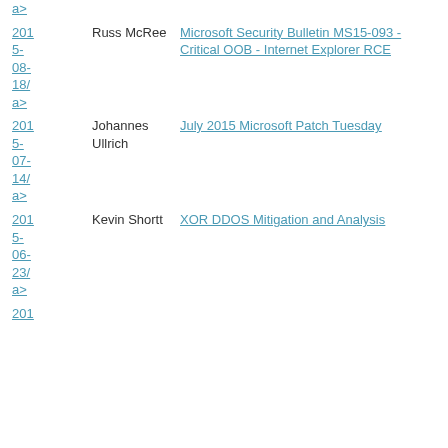| Date | Author | Title |
| --- | --- | --- |
| a>
2015-08-18/
a> | Russ McRee | Microsoft Security Bulletin MS15-093 - Critical OOB - Internet Explorer RCE |
| 2015-07-14/
a> | Johannes Ullrich | July 2015 Microsoft Patch Tuesday |
| 2015-06-23/
a> | Kevin Shortt | XOR DDOS Mitigation and Analysis |
| 201 |  |  |